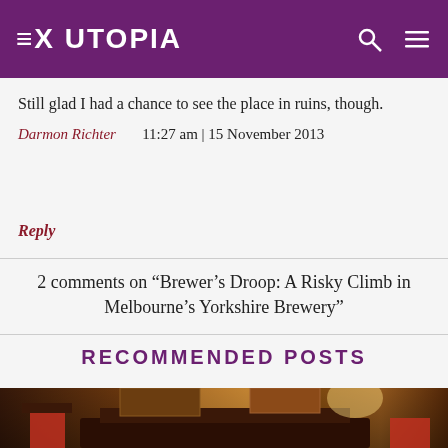EX UTOPIA
Still glad I had a chance to see the place in ruins, though.
Darmon Richter   11:27 am | 15 November 2013
Reply
2 comments on “Brewer’s Droop: A Risky Climb in Melbourne’s Yorkshire Brewery”
RECOMMENDED POSTS
[Figure (photo): Interior photo of a dimly lit room with antique furniture, paintings on walls, red lamp shades, and warm ambient lighting]